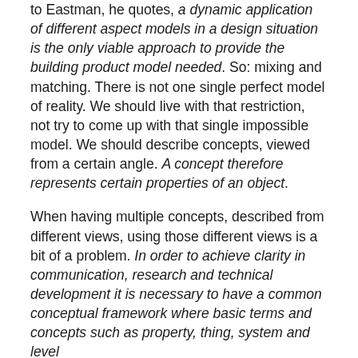to Eastman, he quotes, a dynamic application of different aspect models in a design situation is the only viable approach to provide the building product model needed. So: mixing and matching. There is not one single perfect model of reality. We should live with that restriction, not try to come up with that single impossible model. We should describe concepts, viewed from a certain angle. A concept therefore represents certain properties of an object.
When having multiple concepts, described from different views, using those different views is a bit of a problem. In order to achieve clarity in communication, research and technical development it is necessary to have a common conceptual framework where basic terms and concepts such as property, thing, system and level